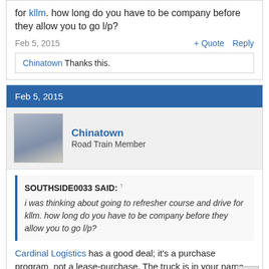for kllm. how long do you have to be company before they allow you to go l/p?
Feb 5, 2015
+ Quote  Reply
Chinatown Thanks this.
Feb 5, 2015
Chinatown
Road Train Member
SOUTHSIDE0033 SAID: ↑
i was thinking about going to refresher course and drive for kllm. how long do you have to be company before they allow you to go l/p?
Cardinal Logistics has a good deal; it's a purchase program, not a lease-purchase. The truck is in your name, not the company name.